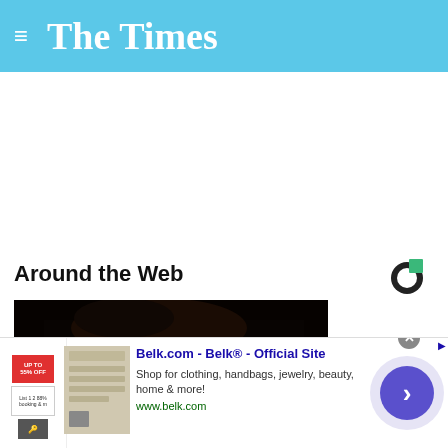The Times
Around the Web
[Figure (photo): Close-up photograph of a young man with dark hair against a black background, hand near his face touching his cheek]
[Figure (logo): Sponsored content logo — circular C shape with green square cutout (Outbrain logo)]
Belk.com - Belk® - Official Site
Shop for clothing, handbags, jewelry, beauty, home & more!
www.belk.com